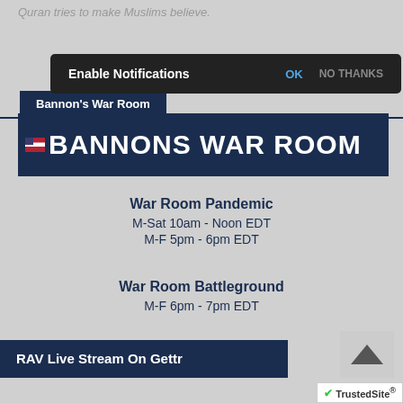Quran tries to make Muslims believe.
[Figure (screenshot): Enable Notifications popup bar with OK and NO THANKS buttons]
Bannon's War Room
[Figure (logo): BANNONS WAR ROOM banner logo on dark navy background]
War Room Pandemic
M-Sat 10am - Noon EDT
M-F 5pm - 6pm EDT
War Room Battleground
M-F 6pm - 7pm EDT
RAV Live Stream On Gettr
[Figure (logo): TrustedSite badge at bottom right]